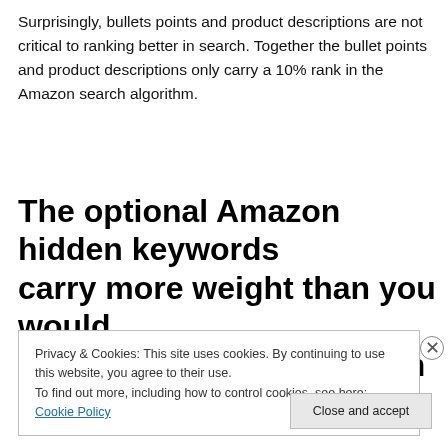Surprisingly, bullets points and product descriptions are not critical to ranking better in search. Together the bullet points and product descriptions only carry a 10% rank in the Amazon search algorithm.
The optional Amazon hidden keywords carry more weight than you would guess in ranking well in an Amazon
Privacy & Cookies: This site uses cookies. By continuing to use this website, you agree to their use. To find out more, including how to control cookies, see here: Cookie Policy
Close and accept